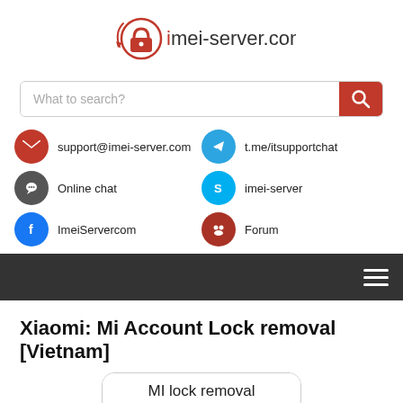[Figure (logo): imei-server.com logo with red padlock icon]
What to search?
support@imei-server.com
t.me/itsupportchat
Online chat
imei-server
ImeiServercom
Forum
Xiaomi: Mi Account Lock removal [Vietnam]
[Figure (screenshot): MI lock removal product card showing a phone with 'This device is locked' screen]